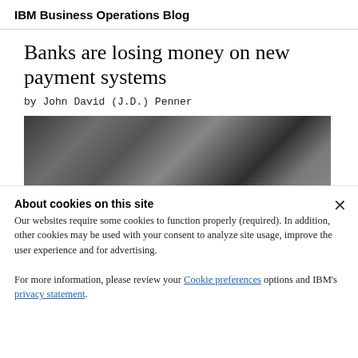IBM Business Operations Blog
Banks are losing money on new payment systems
by John David (J.D.) Penner
[Figure (photo): Partially visible photo of a bald man in a dimly lit room with hanging lights in the background]
About cookies on this site
Our websites require some cookies to function properly (required). In addition, other cookies may be used with your consent to analyze site usage, improve the user experience and for advertising.

For more information, please review your Cookie preferences options and IBM's privacy statement.
Required only
Accept all